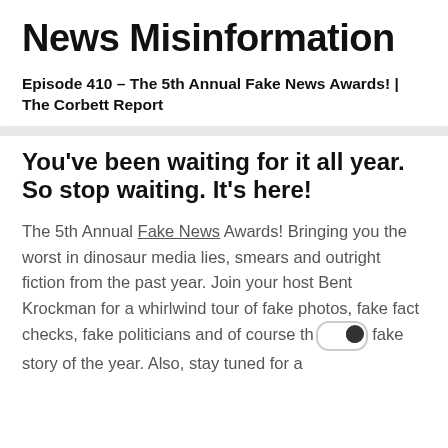News Misinformation
Episode 410 – The 5th Annual Fake News Awards! | The Corbett Report
You've been waiting for it all year. So stop waiting. It's here!
The 5th Annual Fake News Awards! Bringing you the worst in dinosaur media lies, smears and outright fiction from the past year. Join your host Bent Krockman for a whirlwind tour of fake photos, fake fact checks, fake politicians and of course the fake story of the year. Also, stay tuned for a